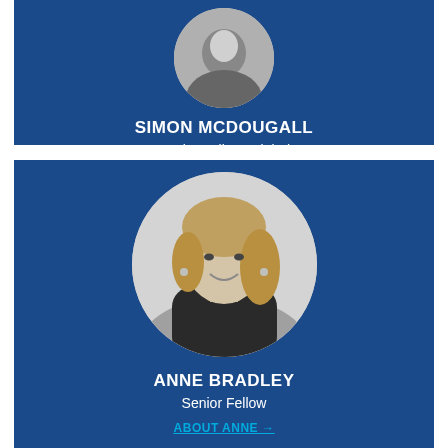[Figure (photo): Circular black and white portrait photo of Simon McDougall, partially cropped at top]
SIMON MCDOUGALL
Senior Fellow, Global
ABOUT SIMON →
[Figure (photo): Circular black and white portrait photo of Anne Bradley, smiling woman with shoulder-length wavy hair]
ANNE BRADLEY
Senior Fellow
ABOUT ANNE →